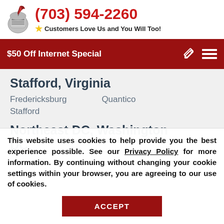[Figure (logo): Knight helmet logo with quill pen]
(703) 594-2260
Customers Love Us and You Will Too!
$50 Off Internet Special
Stafford, Virginia
Fredericksburg    Quantico
Stafford
Northeast DC, Washington DC
This website uses cookies to help provide you the best experience possible. See our Privacy Policy for more information. By continuing without changing your cookie settings within your browser, you are agreeing to our use of cookies.
ACCEPT